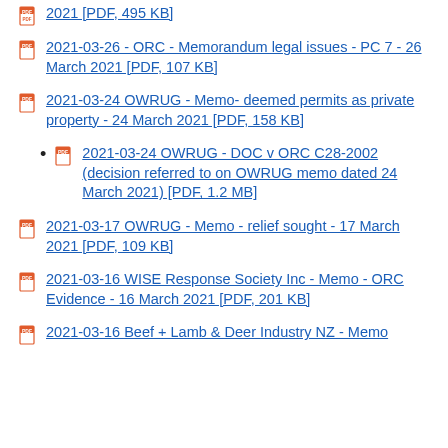2021 [PDF, 495 KB]
2021-03-26 - ORC - Memorandum legal issues - PC 7 - 26 March 2021 [PDF, 107 KB]
2021-03-24 OWRUG - Memo- deemed permits as private property - 24 March 2021 [PDF, 158 KB]
2021-03-24 OWRUG - DOC v ORC C28-2002 (decision referred to on OWRUG memo dated 24 March 2021) [PDF, 1.2 MB]
2021-03-17 OWRUG - Memo - relief sought - 17 March 2021 [PDF, 109 KB]
2021-03-16 WISE Response Society Inc - Memo - ORC Evidence - 16 March 2021 [PDF, 201 KB]
2021-03-16 Beef + Lamb & Deer Industry NZ - Memo